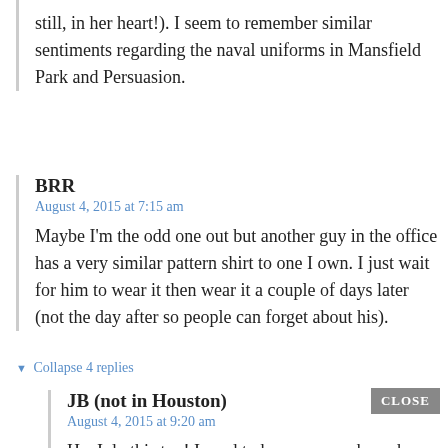still, in her heart!). I seem to remember similar sentiments regarding the naval uniforms in Mansfield Park and Persuasion.
BRR
August 4, 2015 at 7:15 am
Maybe I'm the odd one out but another guy in the office has a very similar pattern shirt to one I own. I just wait for him to wear it then wear it a couple of days later (not the day after so people can forget about his).
▼ Collapse 4 replies
JB (not in Houston)
August 4, 2015 at 9:20 am
Ha, I do this too! I used to have a coworker who had